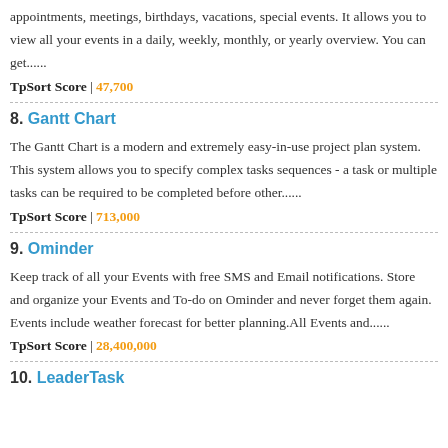appointments, meetings, birthdays, vacations, special events. It allows you to view all your events in a daily, weekly, monthly, or yearly overview. You can get......
TpSort Score | 47,700
8. Gantt Chart
The Gantt Chart is a modern and extremely easy-in-use project plan system. This system allows you to specify complex tasks sequences - a task or multiple tasks can be required to be completed before other......
TpSort Score | 713,000
9. Ominder
Keep track of all your Events with free SMS and Email notifications. Store and organize your Events and To-do on Ominder and never forget them again. Events include weather forecast for better planning.All Events and......
TpSort Score | 28,400,000
10. LeaderTask